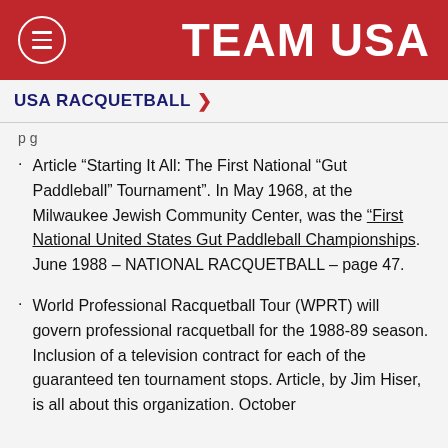TEAM USA
USA RACQUETBALL >
p g
Article “Starting It All:  The First National “Gut Paddleball” Tournament”.  In May 1968, at the Milwaukee Jewish Community Center, was the “First National United States Gut Paddleball Championships.  June 1988 – NATIONAL RACQUETBALL – page 47.
World Professional Racquetball Tour (WPRT) will govern professional racquetball for the 1988-89 season.  Inclusion of a television contract for each of the guaranteed ten tournament stops.   Article, by Jim Hiser, is all about this organization.  October